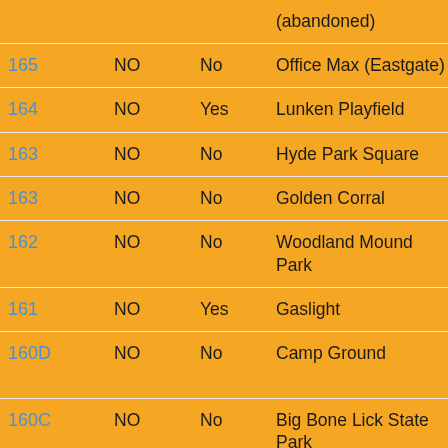| ID | Col2 | Col3 | Location | Col5 |
| --- | --- | --- | --- | --- |
|  |  |  | (abandoned) |  |
| 165 | NO | No | Office Max (Eastgate) | Nor |
| 164 | NO | Yes | Lunken Playfield | Nor |
| 163 | NO | No | Hyde Park Square | Gis Me |
| 163 | NO | No | Golden Corral | Nor |
| 162 | NO | No | Woodland Mound Park | Has We |
| 161 | NO | Yes | Gaslight | Nor |
| 160D | NO | No | Camp Ground | Big Ca We |
| 160C | NO | No | Big Bone Lick State Park | Big Ca |